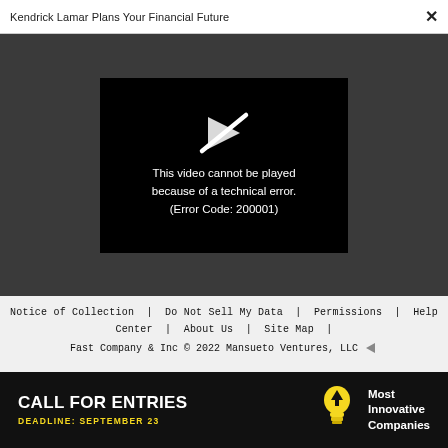Kendrick Lamar Plans Your Financial Future  ×
[Figure (screenshot): Black video player box showing error message: 'This video cannot be played because of a technical error. (Error Code: 200001)' with a broken play icon above the text, on a dark grey background.]
Notice of Collection | Do Not Sell My Data | Permissions | Help Center | About Us | Site Map | Fast Company & Inc © 2022 Mansueto Ventures, LLC
[Figure (infographic): Black advertisement banner: CALL FOR ENTRIES — DEADLINE: SEPTEMBER 23 — Most Innovative Companies, with a yellow lightbulb icon.]